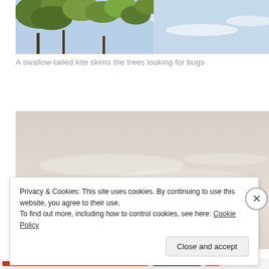[Figure (photo): Top portion of a photo showing green tree branches against a light blue sky]
A swallow-tailed kite skims the trees looking for bugs
[Figure (photo): A photo showing a pale pinkish-beige sky at dusk or dawn, soft and hazy]
Privacy & Cookies: This site uses cookies. By continuing to use this website, you agree to their use.
To find out more, including how to control cookies, see here: Cookie Policy
Close and accept